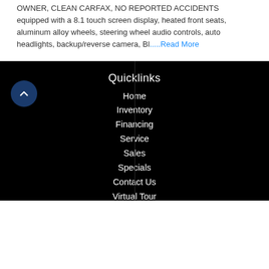OWNER, CLEAN CARFAX, NO REPORTED ACCIDENTS equipped with a 8.1 touch screen display, heated front seats, aluminum alloy wheels, steering wheel audio controls, auto headlights, backup/reverse camera, Bl.....Read More
Quicklinks
Home
Inventory
Financing
Service
Sales
Specials
Contact Us
Virtual Tour
Privacy Policy
COVID-19 Safety Plan